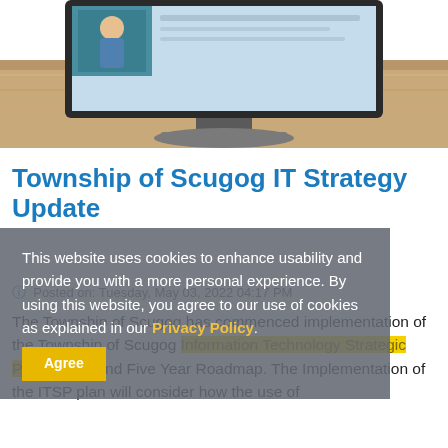[Figure (illustration): Computer monitor on a desk, partially visible from the top portion of the screen showing a wooden desk background and a video/image on screen]
Township of Scugog IT Strategy Update
Posted on: Tuesday, May 03, 2022 04:17 PM
This website uses cookies to enhance usability and provide you with a more personal experience. By using this website, you agree to our use of cookies as explained in our Privacy Policy. Agree
The Township of Scugog has commenced implementation of the Township of Scugog Information Technology Strategic Plan (ITSP) and Five Year Roadmap. The Implementation of the ITSP plan will consider how the use of